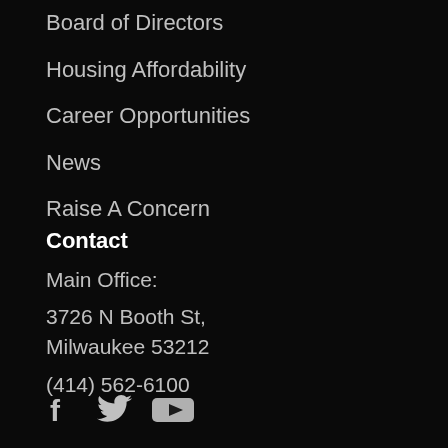Board of Directors
Housing Affordability
Career Opportunities
News
Raise A Concern
Contact
Main Office:
3726 N Booth St,
Milwaukee 53212
(414) 562-6100
[Figure (illustration): Social media icons: Facebook (f), Twitter (bird), YouTube (play button)]